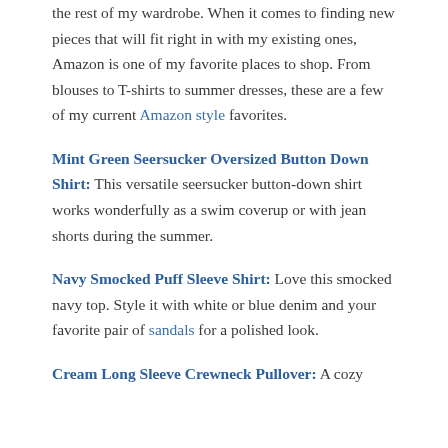the rest of my wardrobe. When it comes to finding new pieces that will fit right in with my existing ones, Amazon is one of my favorite places to shop. From blouses to T-shirts to summer dresses, these are a few of my current Amazon style favorites.
Mint Green Seersucker Oversized Button Down Shirt: This versatile seersucker button-down shirt works wonderfully as a swim coverup or with jean shorts during the summer.
Navy Smocked Puff Sleeve Shirt: Love this smocked navy top. Style it with white or blue denim and your favorite pair of sandals for a polished look.
Cream Long Sleeve Crewneck Pullover: A cozy pullover is a versatile piece in the summer. It is great for...